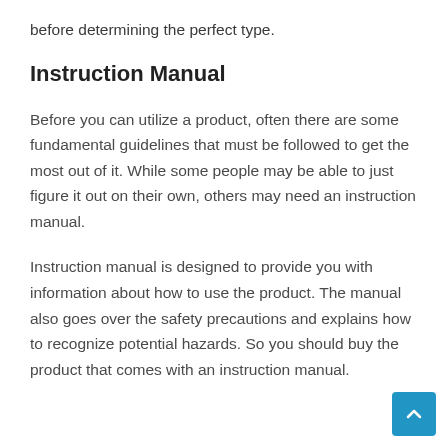before determining the perfect type.
Instruction Manual
Before you can utilize a product, often there are some fundamental guidelines that must be followed to get the most out of it. While some people may be able to just figure it out on their own, others may need an instruction manual.
Instruction manual is designed to provide you with information about how to use the product. The manual also goes over the safety precautions and explains how to recognize potential hazards. So you should buy the product that comes with an instruction manual.